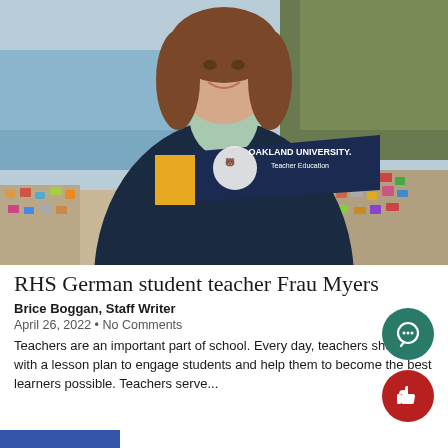[Figure (photo): Young woman standing on a bridge holding an Oakland University Teacher Education pennant flag (navy blue with gold stripe and bear logo). She is wearing a dark navy coat and mint green scarf. Behind her is a river and colorful graffiti. The bridge railing has many padlocks attached to it.]
RHS German student teacher Frau Myers
Brice Boggan, Staff Writer
April 26, 2022 • No Comments
Teachers are an important part of school. Every day, teachers show up with a lesson plan to engage students and help them to become the best learners possible. Teachers serve...